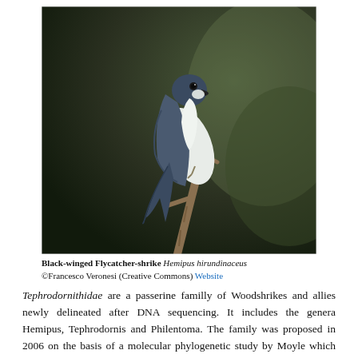[Figure (photo): A Black-winged Flycatcher-shrike (Hemipus hirundinaceus) perched on a bare branch, showing blue-grey upperparts and white underparts against a dark blurred background.]
Black-winged Flycatcher-shrike Hemipus hirundinaceus ©Francesco Veronesi (Creative Commons) Website
Tephrodornithidae are a passerine familly of Woodshrikes and allies newly delineated after DNA sequencing. It includes the genera Hemipus, Tephrodornis and Philentoma. The family was proposed in 2006 on the basis of a molecular phylogenetic study by Moyle which showed a close relation between Hemipus and Tephrodornis. Some taxonomists argue for a broader treatment of the genera under the Vangidae. According to the IOC there are 8 species, which